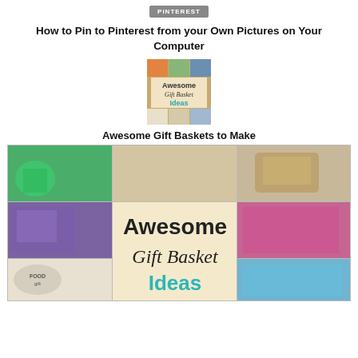PINTEREST
How to Pin to Pinterest from your Own Pictures on Your Computer
[Figure (photo): Small thumbnail image of 'Awesome Gift Basket Ideas' collage]
Awesome Gift Baskets to Make
[Figure (photo): Large collage image titled 'Awesome Gift Basket Ideas' showing multiple gift baskets including green basket, colorful baskets, food gift, and decorated baskets]